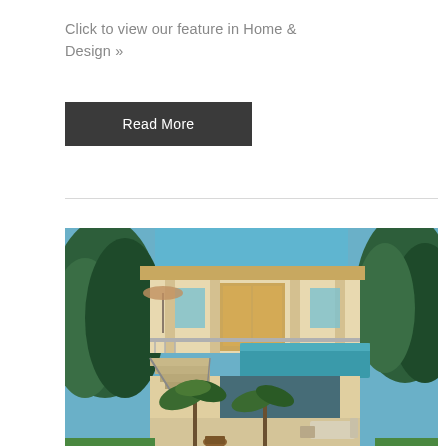Click to view our feature in Home & Design »
Read More
[Figure (photo): Aerial view of a modern luxury home with two stories, a rooftop terrace, infinity pool, outdoor seating area, surrounded by palm trees and lush greenery, photographed at dusk with interior lights on.]